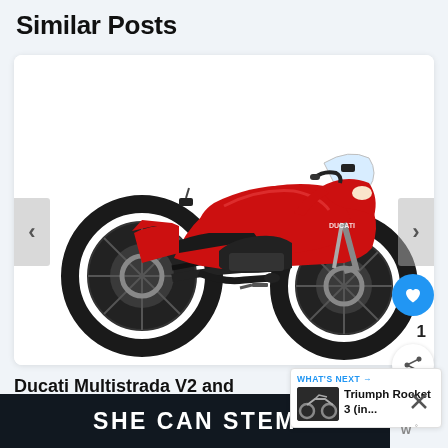Similar Posts
[Figure (photo): Red Ducati Multistrada adventure motorcycle shown from the left side profile on a white background, displayed inside a card/carousel widget with left and right navigation arrows, a heart/favorite button, page number 1, and a share button]
Ducati Multistrada V2 and V2 S (2021+) Maintenance Schedule
[Figure (screenshot): WHAT'S NEXT banner with a small thumbnail image of a Triumph Rocket 3 motorcycle, text reading 'Triumph Rocket 3 (in...']
[Figure (infographic): Dark advertisement banner reading 'SHE CAN STEM' with a close/X button and WordPress logo to the right]